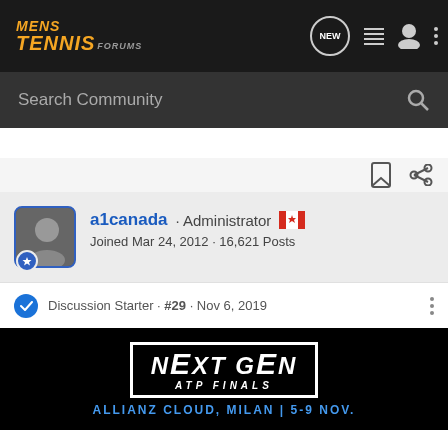MENS TENNIS FORUMS
Search Community
a1canada · Administrator
Joined Mar 24, 2012 · 16,621 Posts
Discussion Starter · #29 · Nov 6, 2019
[Figure (screenshot): Next Gen ATP Finals banner — ALLIANZ CLOUD, MILAN | 5-9 NOV.]